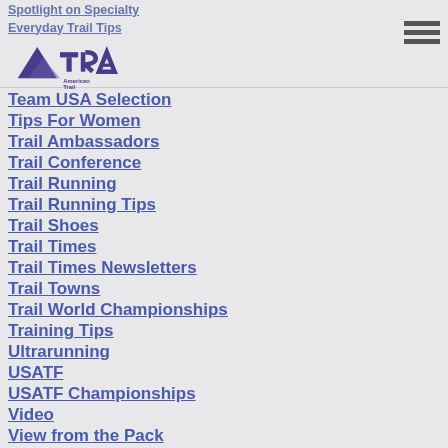Spotlight on Specialty | Everyday Trail Tips
[Figure (logo): American Trail Running Association (ATRA) logo with mountain/triangle graphic]
Team USA Selection
Tips For Women
Trail Ambassadors
Trail Conference
Trail Running
Trail Running Tips
Trail Shoes
Trail Times
Trail Times Newsletters
Trail Towns
Trail World Championships
Training Tips
Ultrarunning
USATF
USATF Championships
Video
View from the Pack